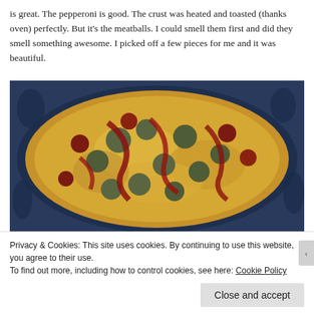is great. The pepperoni is good. The crust was heated and toasted (thanks oven) perfectly. But it's the meatballs. I could smell them first and did they smell something awesome. I picked off a few pieces for me and it was beautiful.
[Figure (photo): A pizza topped with meatballs, pepperoni, and cheese, viewed from above on a dark floral plate.]
Privacy & Cookies: This site uses cookies. By continuing to use this website, you agree to their use.
To find out more, including how to control cookies, see here: Cookie Policy
Close and accept